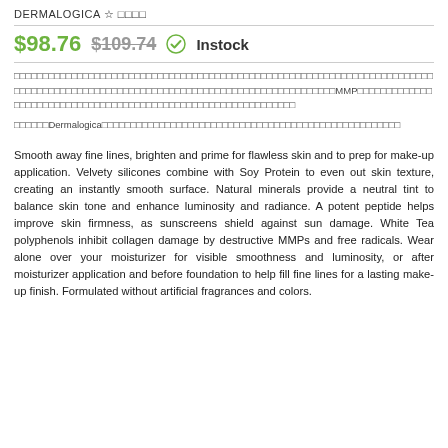DERMALOGICA ☆ □□□□
$98.76  $109.74  ✓ Instock
□□□□□□□□□□□□□□□□□□□□□□□□□□□□□□□□□□□□□□□□□□□□□□□□□□□□□□□□□□□□□□□□□□□□□□□□□□□□□□□□□□□□□□□□□□□□□□□□□□□□□□□□□□□□□□□□□□□□□□□□□□□□□□□□□MMP□□□□□□□□□□□□□□□□□□□□□□□□□□□□□□□□□□□□□□□□□□□□□□□□□□□□□□□□□□□□□□
□□□□□□Dermalogica□□□□□□□□□□□□□□□□□□□□□□□□□□□□□□□□□□□□□□□□□□□□□□□□□□□□
Smooth away fine lines, brighten and prime for flawless skin and to prep for make-up application. Velvety silicones combine with Soy Protein to even out skin texture, creating an instantly smooth surface. Natural minerals provide a neutral tint to balance skin tone and enhance luminosity and radiance. A potent peptide helps improve skin firmness, as sunscreens shield against sun damage. White Tea polyphenols inhibit collagen damage by destructive MMPs and free radicals. Wear alone over your moisturizer for visible smoothness and luminosity, or after moisturizer application and before foundation to help fill fine lines for a lasting make-up finish. Formulated without artificial fragrances and colors.